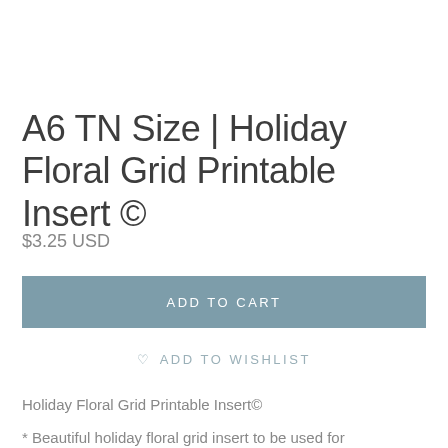A6 TN Size | Holiday Floral Grid Printable Insert ©
$3.25 USD
ADD TO CART
♡ ADD TO WISHLIST
Holiday Floral Grid Printable Insert©
* Beautiful holiday floral grid insert to be used for